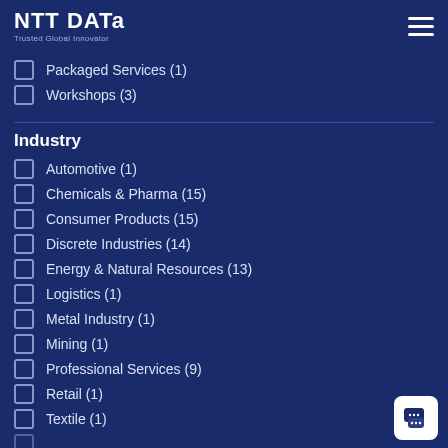NTT DATA - Trusted Global Innovator
Packaged Services (1)
Workshops (3)
Industry
Automotive (1)
Chemicals & Pharma (15)
Consumer Products (15)
Discrete Industries (14)
Energy & Natural Resources (13)
Logistics (1)
Metal Industry (1)
Mining (1)
Professional Services (9)
Retail (1)
Textile (1)